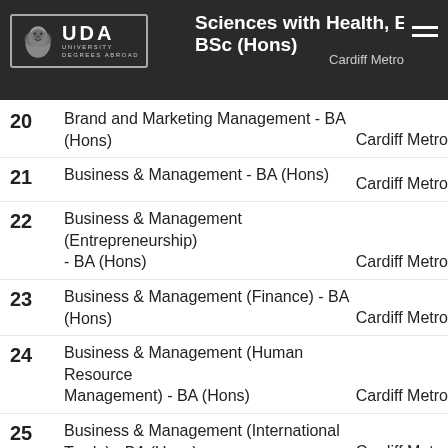Sciences with Health, Exercise & … BSc (Hons) — Cardiff Metro
20 Brand and Marketing Management - BA (Hons) Cardiff Metro
21 Business & Management - BA (Hons) Cardiff Metro
22 Business & Management (Entrepreneurship) - BA (Hons) Cardiff Metro
23 Business & Management (Finance) - BA (Hons) Cardiff Metro
24 Business & Management (Human Resource Management) - BA (Hons) Cardiff Metro
25 Business & Management (International Trade) - BA (Hons) Cardiff Metro
26 Business & Management (Law) - BA (Hons) Cardiff Metro
27 Business & Management (Marketing) - BA (Hons) Cardiff Metro
28 Business & Management (Sustainability) -